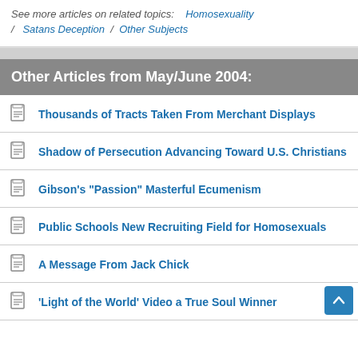See more articles on related topics:   Homosexuality / Satans Deception / Other Subjects
Other Articles from May/June 2004:
Thousands of Tracts Taken From Merchant Displays
Shadow of Persecution Advancing Toward U.S. Christians
Gibson's "Passion" Masterful Ecumenism
Public Schools New Recruiting Field for Homosexuals
A Message From Jack Chick
'Light of the World' Video a True Soul Winner